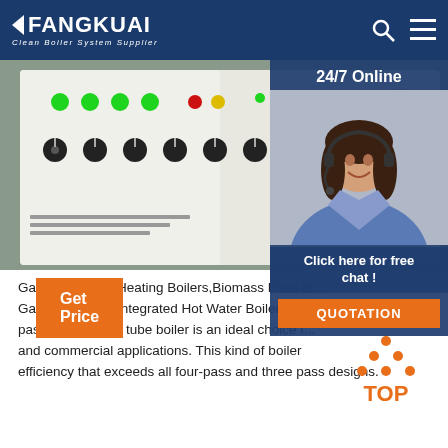FANGKUAI - Clean Boiler System Supplier
[Figure (photo): Boiler control panel with green and red indicator lights and switches, industrial setting]
[Figure (photo): Customer service agent woman wearing headset, smiling, with 24/7 Online overlay and Click here for free chat button and QUOTATION button]
Gas or Oil Fired Heating Boilers,Biomass Fired Boilers, Gas or Oil Fired Integrated Hot Water Boiler China 3 pass wetback fire tube boiler is an ideal choice for industrial and commercial applications. This kind of boiler efficiency that exceeds all four-pass and three pass designs.
Get Price
[Figure (infographic): TOP scroll-to-top button with orange triangle dots icon and orange TOP text]